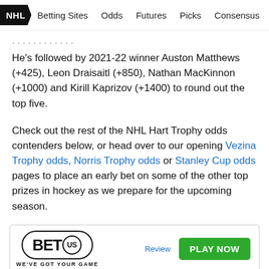NHL  Betting Sites  Odds  Futures  Picks  Consensus  Ma
He's followed by 2021-22 winner Auston Matthews (+425), Leon Draisaitl (+850), Nathan MacKinnon (+1000) and Kirill Kaprizov (+1400) to round out the top five.
Check out the rest of the NHL Hart Trophy odds contenders below, or head over to our opening Vezina Trophy odds, Norris Trophy odds or Stanley Cup odds pages to place an early bet on some of the other top prizes in hockey as we prepare for the upcoming season.
[Figure (other): BetUS advertisement banner with BetUS logo ('WE'VE GOT YOUR GAME'), a 'Review' link, and a green 'PLAY NOW' button]